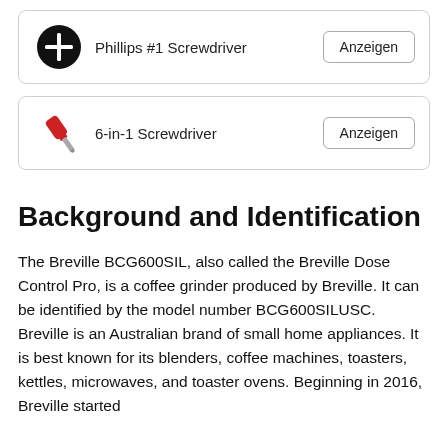[Figure (illustration): Black circle with white plus/cross sign icon representing a Phillips #1 Screwdriver]
Phillips #1 Screwdriver — Anzeigen
[Figure (illustration): Red and silver 6-in-1 screwdriver tool icon]
6-in-1 Screwdriver — Anzeigen
Background and Identification
The Breville BCG600SIL, also called the Breville Dose Control Pro, is a coffee grinder produced by Breville. It can be identified by the model number BCG600SILUSC. Breville is an Australian brand of small home appliances. It is best known for its blenders, coffee machines, toasters, kettles, microwaves, and toaster ovens. Beginning in 2016, Breville started